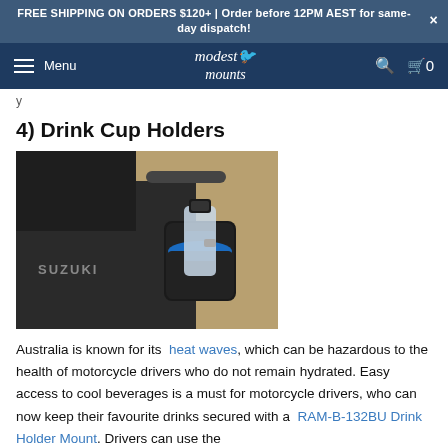FREE SHIPPING ON ORDERS $120+ | Order before 12PM AEST for same-day dispatch!
Menu | modest mounts | Search | Cart 0
y
4) Drink Cup Holders
[Figure (photo): A Suzuki motorcycle with a black cup holder mounted on the handlebars, holding a water bottle with a blue cap, set against a blurred outdoor background.]
Australia is known for its heat waves, which can be hazardous to the health of motorcycle drivers who do not remain hydrated. Easy access to cool beverages is a must for motorcycle drivers, who can now keep their favourite drinks secured with a RAM-B-132BU Drink Holder Mount. Drivers can use the